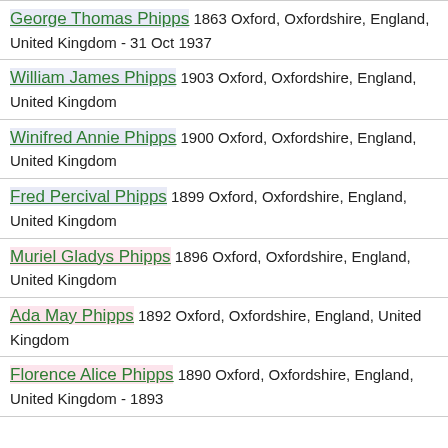George Thomas Phipps 1863 Oxford, Oxfordshire, England, United Kingdom - 31 Oct 1937
William James Phipps 1903 Oxford, Oxfordshire, England, United Kingdom
Winifred Annie Phipps 1900 Oxford, Oxfordshire, England, United Kingdom
Fred Percival Phipps 1899 Oxford, Oxfordshire, England, United Kingdom
Muriel Gladys Phipps 1896 Oxford, Oxfordshire, England, United Kingdom
Ada May Phipps 1892 Oxford, Oxfordshire, England, United Kingdom
Florence Alice Phipps 1890 Oxford, Oxfordshire, England, United Kingdom - 1893